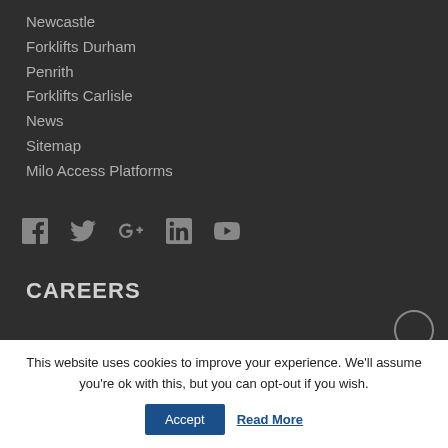Newcastle
Forklifts Durham
Penrith
Forklifts Carlisle
News
Sitemap
Milo Access Platforms
[Figure (infographic): Social media icons: Facebook, Twitter, Google+, LinkedIn, YouTube]
CAREERS
This website uses cookies to improve your experience. We'll assume you're ok with this, but you can opt-out if you wish.
Accept   Read More